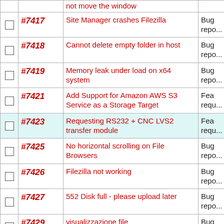|  | ID | Title | Type |
| --- | --- | --- | --- |
| ☐ | #7417 | Site Manager crashes Filezilla | Bug repo... |
| ☐ | #7418 | Cannot delete empty folder in host | Bug repo... |
| ☐ | #7419 | Memory leak under load on x64 system | Bug repo... |
| ☐ | #7421 | Add Support for Amazon AWS S3 Service as a Storage Target | Fea requ... |
| ☐ | #7423 | Requesting RS232 + CNC LVS2 transfer module | Fea requ... |
| ☐ | #7425 | No horizontal scrolling on File Browsers | Bug repo... |
| ☐ | #7426 | Filezilla not working | Bug repo... |
| ☐ | #7427 | 552 Disk full - please upload later | Bug repo... |
| ☐ | #7429 | visualizzazione file | Bug repo... |
| ☐ | #7435 | Cannot Delete Folders | Bug repo... |
| ☐ | #7438 | Compilation error syn rev | Bug... |